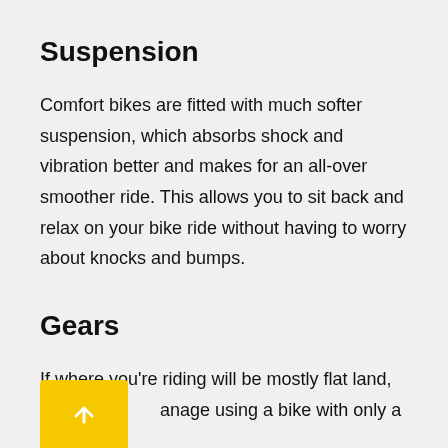Suspension
Comfort bikes are fitted with much softer suspension, which absorbs shock and vibration better and makes for an all-over smoother ride. This allows you to sit back and relax on your bike ride without having to worry about knocks and bumps.
Gears
If where you're riding will be mostly flat land, you can manage using a bike with only a few gears.